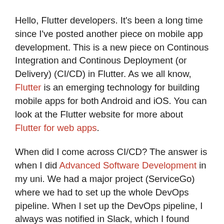Hello, Flutter developers. It's been a long time since I've posted another piece on mobile app development. This is a new piece on Continous Integration and Continous Deployment (or Delivery) (CI/CD) in Flutter. As we all know, Flutter is an emerging technology for building mobile apps for both Android and iOS. You can look at the Flutter website for more about Flutter for web apps.
When did I come across CI/CD? The answer is when I did Advanced Software Development in my uni. We had a major project (ServiceGo) where we had to set up the whole DevOps pipeline. When I set up the DevOps pipeline, I always was notified in Slack, which I found very interesting. After the complete DevOps setup, I loved the DevOps practice in the software development industry.